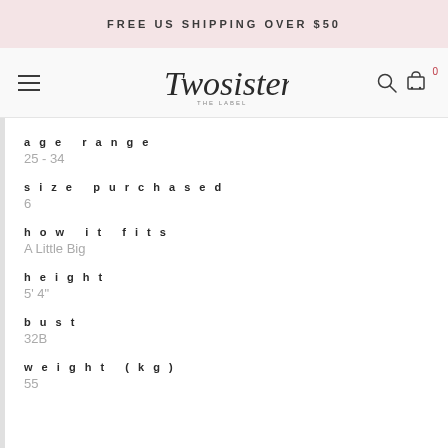FREE US SHIPPING OVER $50
[Figure (logo): Two Sisters The Label logo with hamburger menu, search icon, and cart icon (0 items) in navigation bar]
age range
25 - 34
size purchased
6
how it fits
A Little Big
height
5' 4"
bust
32B
weight (kg)
55